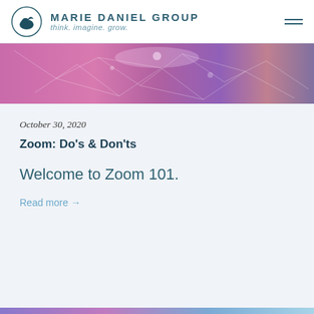MARIE DANIEL GROUP think. imagine. grow.
[Figure (photo): Abstract purple and pink neural/biological imagery banner]
October 30, 2020
Zoom: Do’s & Don’ts
Welcome to Zoom 101.
Read more →